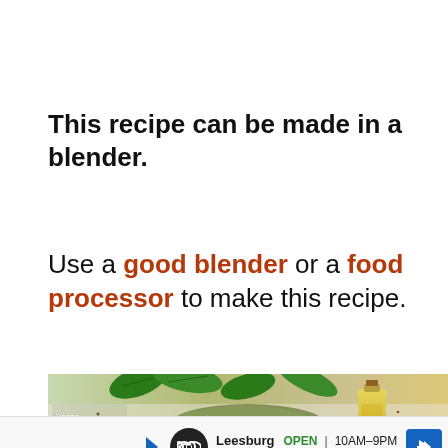This recipe can be made in a blender.
Use a good blender or a food processor to make this recipe.
[Figure (photo): Banner advertisement for Vegan Spinach and Artichoke Dip showing spinach leaves, green dip spread, and a bottle of oil on a light background]
[Figure (infographic): Map/directions advertisement for Leesburg store showing OPEN 10AM-9PM, 241 Fort Evans Rd NE, Leesburg with navigation arrow icon]